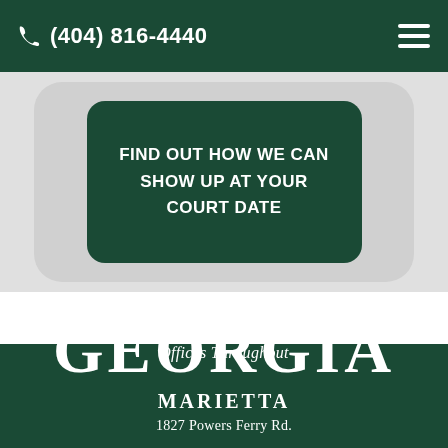(404) 816-4440
FIND OUT HOW WE CAN SHOW UP AT YOUR COURT DATE
Offices Throughout
GEORGIA
MARIETTA
1827 Powers Ferry Rd.